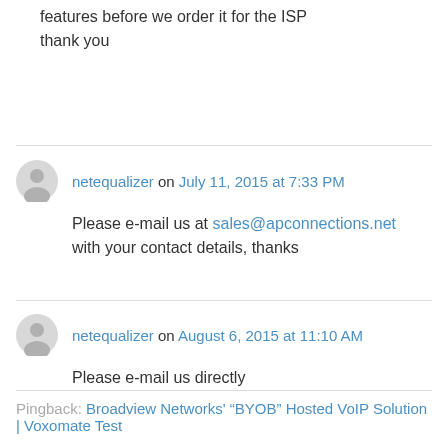features before we order it for the ISP
thank you
netequalizer on July 11, 2015 at 7:33 PM
Please e-mail us at sales@apconnections.net with your contact details, thanks
netequalizer on August 6, 2015 at 11:10 AM
Please e-mail us directly
Pingback: Broadview Networks’ “BYOB” Hosted VoIP Solution | Voxomate Test